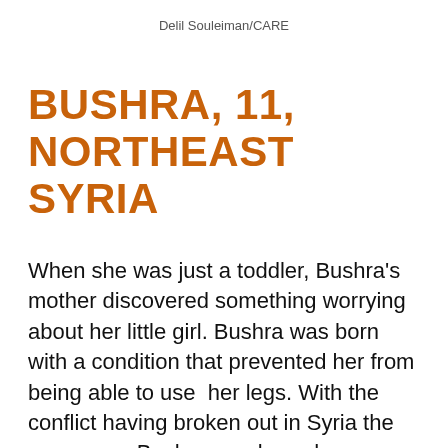Delil Souleiman/CARE
BUSHRA, 11, NORTHEAST SYRIA
When she was just a toddler, Bushra's mother discovered something worrying about her little girl. Bushra was born with a condition that prevented her from being able to use  her legs. With the conflict having broken out in Syria the same year Bushra was born, her treatment was put on hold…